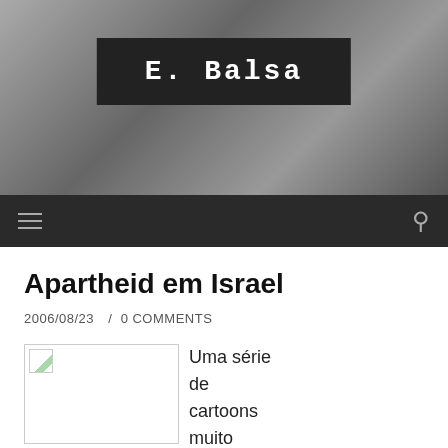[Figure (photo): Blurred dark background photo of what appears to be mechanical or printed objects, with a dark banner overlay showing the site title 'E. Balsa' in white monospace bold text]
E. Balsa
Apartheid em Israel
2006/08/23  /  0 COMMENTS
[Figure (photo): Broken image placeholder (image failed to load)]
Uma série de cartoons muito interessantes sobre a